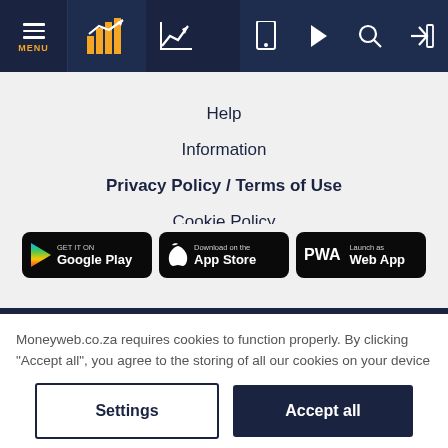Moneyweb navigation bar with MENU, chart icon, curve icon, mobile icon, play icon, search icon, login icon
Help
Information
Privacy Policy / Terms of Use
Cookie Policy
[Figure (screenshot): Three app download buttons: GET IT ON Google Play, Download on the App Store, Launch as Web App (PWA)]
Moneyweb.co.za requires cookies to function properly. By clicking "Accept all", you agree to the storing of all our cookies on your device to enhance site navigation, analyze site usage, and assist in our marketing efforts. Click on "Settings" for more information or read our Cookie Policy.